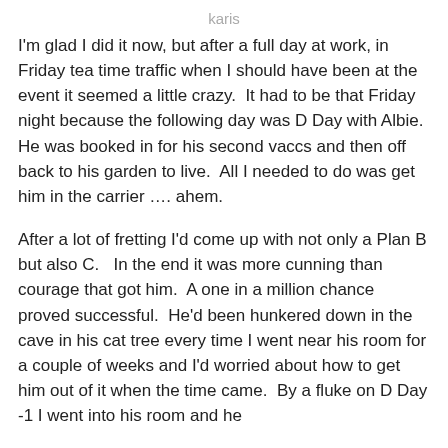karis
I'm glad I did it now, but after a full day at work, in Friday tea time traffic when I should have been at the event it seemed a little crazy.  It had to be that Friday night because the following day was D Day with Albie.  He was booked in for his second vaccs and then off back to his garden to live.  All I needed to do was get him in the carrier …. ahem.
After a lot of fretting I'd come up with not only a Plan B but also C.   In the end it was more cunning than courage that got him.  A one in a million chance proved successful.  He'd been hunkered down in the cave in his cat tree every time I went near his room for a couple of weeks and I'd worried about how to get him out of it when the time came.  By a fluke on D Day -1 I went into his room and he